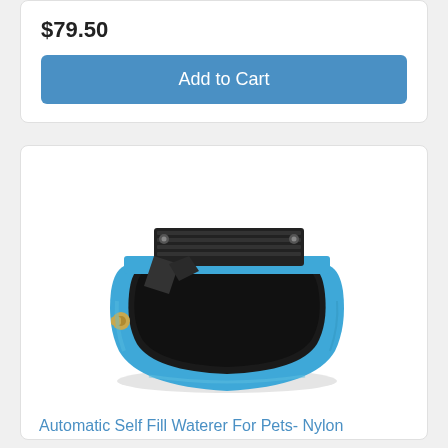$79.50
Add to Cart
[Figure (photo): Blue automatic self-fill pet waterer bowl with black metal float mechanism and brass fitting on the left side]
Automatic Self Fill Waterer For Pets- Nylon